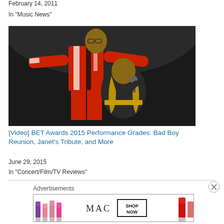February 14, 2011
In "Music News"
[Figure (photo): Two performers on stage: a tall man in a red, black and white patterned jacket with arms outstretched, and a woman in black with a gold belt singing into a microphone.]
[Video] BET Awards 2015 Performance Grades: Bad Boy Reunion, Janet's Tribute, and More
June 29, 2015
In "Concert/Film/TV Reviews"
Advertisements
[Figure (photo): MAC cosmetics advertisement showing lipsticks on the left, MAC logo in the center, and a SHOP NOW box, with a red lipstick on the right.]